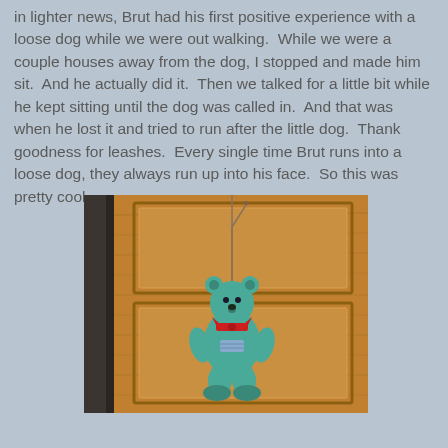in lighter news, Brut had his first positive experience with a loose dog while we were out walking.  While we were a couple houses away from the dog, I stopped and made him sit.  And he actually did it.  Then we talked for a little bit while he kept sitting until the dog was called in.  And that was when he lost it and tried to run after the little dog.  Thank goodness for leashes.  Every single time Brut runs into a loose dog, they always run up into his face.  So this was pretty cool.
[Figure (photo): A small teal/turquoise stuffed bear hanging by a cord from a wooden door or cabinet with raised panel details. The bear has a red bow or scarf and is hanging vertically.]